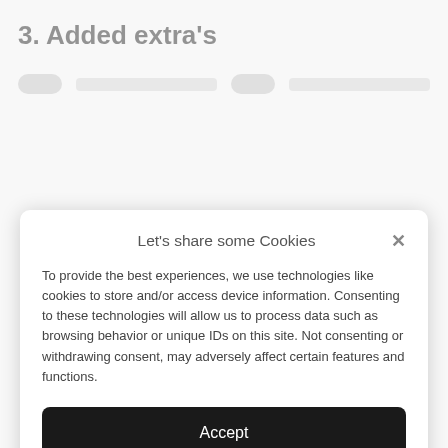3. Added extra's
[Figure (screenshot): Partial view of page content with two icon/feature rows partially visible]
Let's share some Cookies
To provide the best experiences, we use technologies like cookies to store and/or access device information. Consenting to these technologies will allow us to process data such as browsing behavior or unique IDs on this site. Not consenting or withdrawing consent, may adversely affect certain features and functions.
Accept
Deny
View preferences